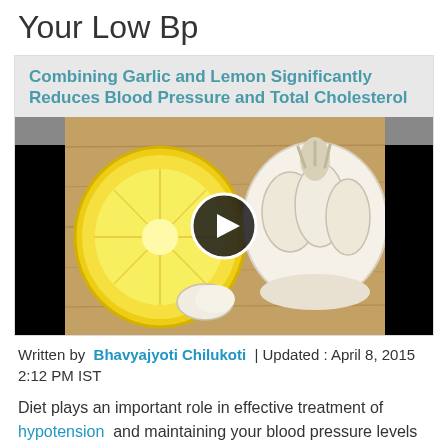Your Low Bp
Combining Garlic and Lemon Significantly Reduces Blood Pressure and Total Cholesterol
[Figure (photo): Video thumbnail showing a lemon half and a garlic bulb on a wooden surface, with a play button overlay. Black bars on left and right sides.]
Written by Bhavyajyoti Chilukoti | Updated : April 8, 2015 2:12 PM IST
Diet plays an important role in effective treatment of hypotension and maintaining your blood pressure levels within normal range. Dr Sanjeev Chaudhary, Associate